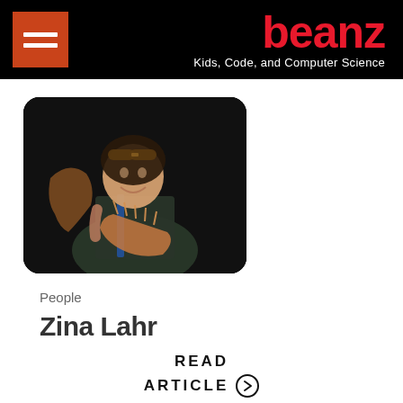beanz — Kids, Code, and Computer Science
[Figure (photo): Young woman in costume holding a dragon prop, wearing goggles on her head, smiling against a dark background]
People
Zina Lahr
READ
ARTICLE →